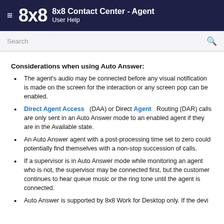8x8 Contact Center - Agent
User Help
Search
Considerations when using Auto Answer:
The agent's audio may be connected before any visual notification is made on the screen for the interaction or any screen pop can be enabled.
Direct Agent Access (DAA) or Direct Agent Routing (DAR) calls are only sent in an Auto Answer mode to an enabled agent if they are in the Available state.
An Auto Answer agent with a post-processing time set to zero could potentially find themselves with a non-stop succession of calls.
If a supervisor is in Auto Answer mode while monitoring an agent who is not, the supervisor may be connected first, but the customer continues to hear queue music or the ring tone until the agent is connected.
Auto Answer is supported by 8x8 Work for Desktop only. If the devi...